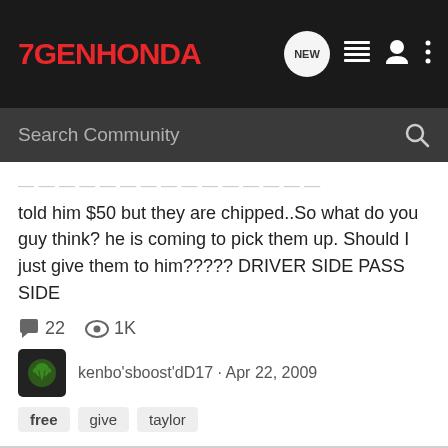7GENHONDA
told him $50 but they are chipped..So what do you guy think? he is coming to pick them up. Should I just give them to him????? DRIVER SIDE PASS SIDE
22 comments  1K views
kenbo'sboost'dD17 · Apr 22, 2009
free
give
taylor
Free Photoshop Software?
Photography and Photoshop
Anyone know where i can get a half handy photoshop kinda program for free? Wouldnt be using it enough to buy it like, juz somthing that'l let me mess around with pics like making sig's and stuff like that.. wont be doin anything mind